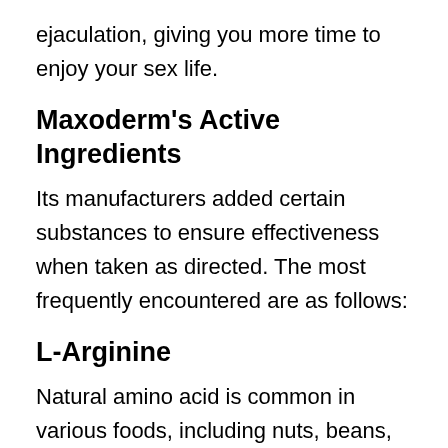ejaculation, giving you more time to enjoy your sex life.
Maxoderm's Active Ingredients
Its manufacturers added certain substances to ensure effectiveness when taken as directed. The most frequently encountered are as follows:
L-Arginine
Natural amino acid is common in various foods, including nuts, beans, seeds, and